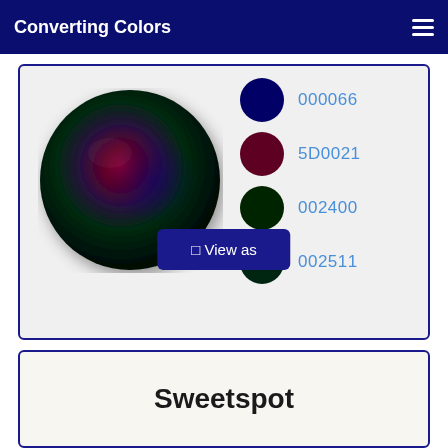Converting Colors
[Figure (illustration): A dark sphere with gradient colors (dark green, dark red/maroon, dark blue) with color swatches showing 000066, 5D0021, 002400, 002511]
◱ View as
Sweetspot